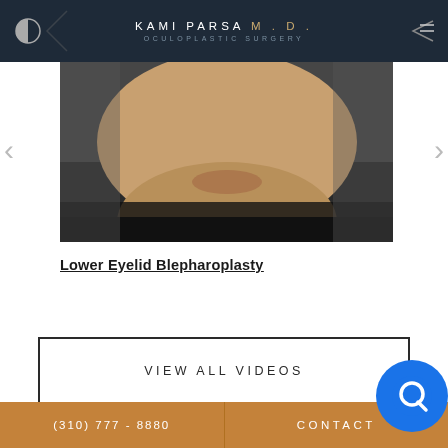KAMI PARSA M.D. OCULOPLASTIC SURGERY
[Figure (photo): Close-up video thumbnail showing a person's face (lower half visible) against a dark background, from a medical video about Lower Eyelid Blepharoplasty]
Lower Eyelid Blepharoplasty
VIEW ALL VIDEOS
(310) 777 - 8880   CONTACT